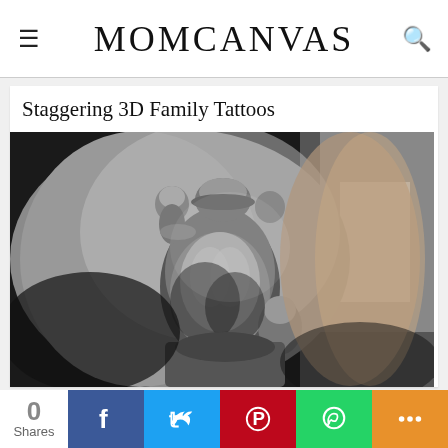MOMCANVAS
Staggering 3D Family Tattoos
[Figure (photo): Black and white photograph showing a detailed 3D tattoo on someone's skin depicting a man wearing a baseball cap carrying/holding children, viewed from behind. The tattoo is a realistic portrait-style design.]
0 Shares